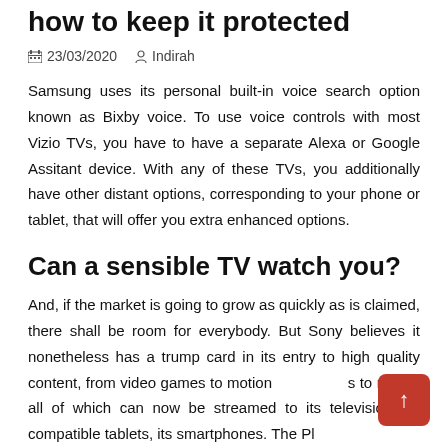how to keep it protected
23/03/2020   Indirah
Samsung uses its personal built-in voice search option known as Bixby voice. To use voice controls with most Vizio TVs, you have to have a separate Alexa or Google Assitant device. With any of these TVs, you additionally have other distant options, corresponding to your phone or tablet, that will offer you extra enhanced options.
Can a sensible TV watch you?
And, if the market is going to grow as quickly as is claimed, there shall be room for everybody. But Sony believes it nonetheless has a trump card in its entry to high quality content, from video games to motion pictures to music, all of which can now be streamed to its television, its compatible tablets, its smartphones. The Pl…